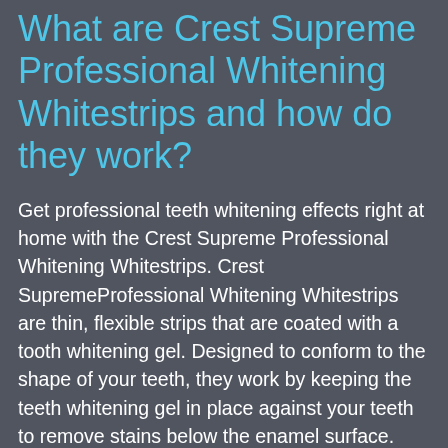What are Crest Supreme Professional Whitening Whitestrips and how do they work?
Get professional teeth whitening effects right at home with the Crest Supreme Professional Whitening Whitestrips. Crest SupremeProfessional Whitening Whitestrips are thin, flexible strips that are coated with a tooth whitening gel. Designed to conform to the shape of your teeth, they work by keeping the teeth whitening gel in place against your teeth to remove stains below the enamel surface. Whitestrips use the same